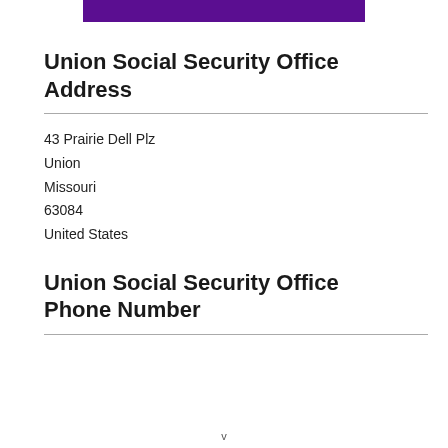[Figure (other): Purple decorative bar at top of page]
Union Social Security Office Address
43 Prairie Dell Plz
Union
Missouri
63084
United States
Union Social Security Office Phone Number